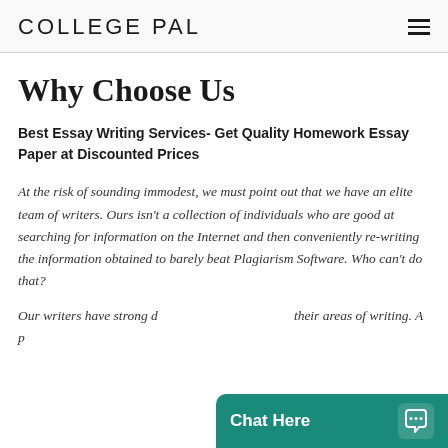COLLEGE PAL
Why Choose Us
Best Essay Writing Services- Get Quality Homework Essay Paper at Discounted Prices
At the risk of sounding immodest, we must point out that we have an elite team of writers. Ours isn't a collection of individuals who are good at searching for information on the Internet and then conveniently re-writing the information obtained to barely beat Plagiarism Software. Who can't do that?
Our writers have strong d... their areas of writing. A p...